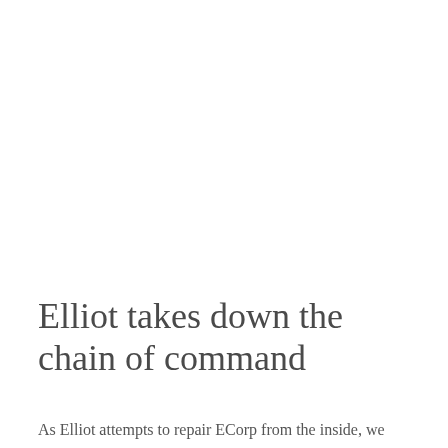Elliot takes down the chain of command
As Elliot attempts to repair ECorp from the inside, we